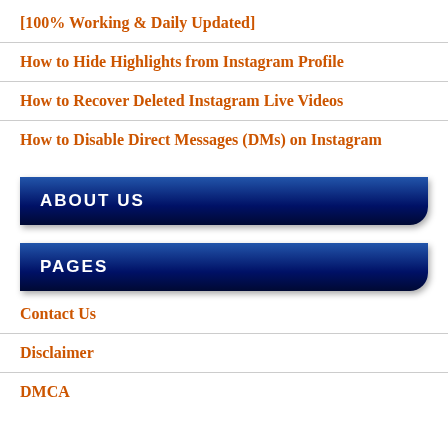[100% Working & Daily Updated]
How to Hide Highlights from Instagram Profile
How to Recover Deleted Instagram Live Videos
How to Disable Direct Messages (DMs) on Instagram
ABOUT US
PAGES
Contact Us
Disclaimer
DMCA